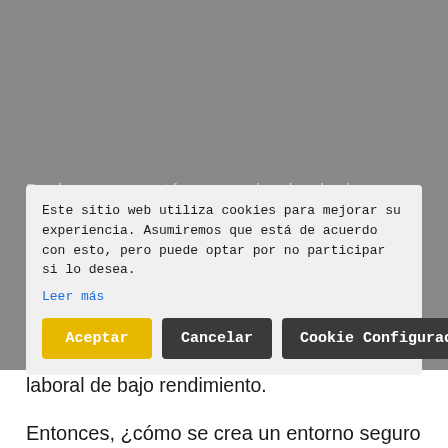[Figure (screenshot): Screenshot of a webpage with a cookie consent modal overlay. Behind the modal, blurred Spanish article text is visible. The cookie modal contains text about cookie usage, a 'Leer más' link, and three buttons: 'Aceptar' (yellow), 'Cancelar' (dark), and 'Cookie Configuración' (dark). Below the modal, readable Spanish text continues.]
Dado que no está compartiendo el mismo espacio físico, a menudo es difícil obtener una lectura precisa de cómo no responde su equipo a los cambios que surgen del trabajo remoto. Si no configura un sistema para comprender las necesidades de su equipo y responder a ellas, podría encontrarse con una fuerza laboral de bajo rendimiento.
Este sitio web utiliza cookies para mejorar su experiencia. Asumiremos que está de acuerdo con esto, pero puede optar por no participar si lo desea.
Leer más
Aceptar
Cancelar
Cookie Configuración
laboral de bajo rendimiento.
Entonces, ¿cómo se crea un entorno seguro para que los empleados envíen reseñas libremente y permitan tomar decisiones informadas para crear un equipo distribuido y productivo?